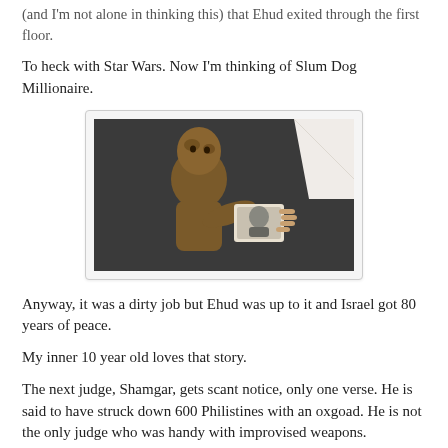(and I'm not alone in thinking this) that Ehud exited through the first floor.
To heck with Star Wars. Now I'm thinking of Slum Dog Millionaire.
[Figure (photo): A mud-covered child figure holding a photograph, reminiscent of a scene from Slum Dog Millionaire.]
Anyway, it was a dirty job but Ehud was up to it and Israel got 80 years of peace.
My inner 10 year old loves that story.
The next judge, Shamgar, gets scant notice, only one verse. He is said to have struck down 600 Philistines with an oxgoad. He is not the only judge who was handy with improvised weapons.